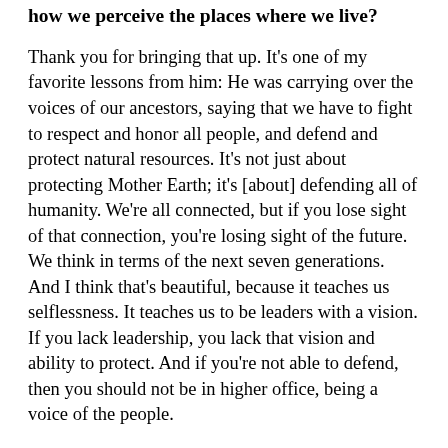...can this through legislation is changing how we perceive the places where we live?
Thank you for bringing that up. It's one of my favorite lessons from him: He was carrying over the voices of our ancestors, saying that we have to fight to respect and honor all people, and defend and protect natural resources. It's not just about protecting Mother Earth; it's [about] defending all of humanity. We're all connected, but if you lose sight of that connection, you're losing sight of the future. We think in terms of the next seven generations. And I think that's beautiful, because it teaches us selflessness. It teaches us to be leaders with a vision. If you lack leadership, you lack that vision and ability to protect. And if you're not able to defend, then you should not be in higher office, being a voice of the people.